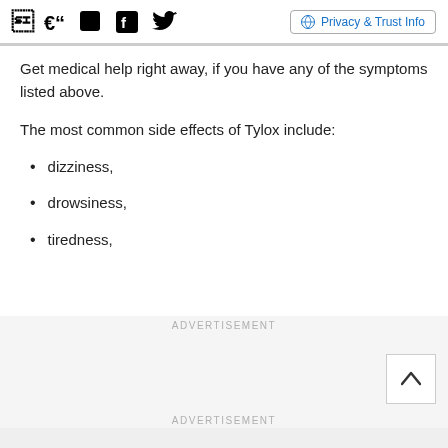Social icons and Privacy & Trust Info
Get medical help right away, if you have any of the symptoms listed above.
The most common side effects of Tylox include:
dizziness,
drowsiness,
tiredness,
ADVERTISEMENT
ADVERTISEMENT